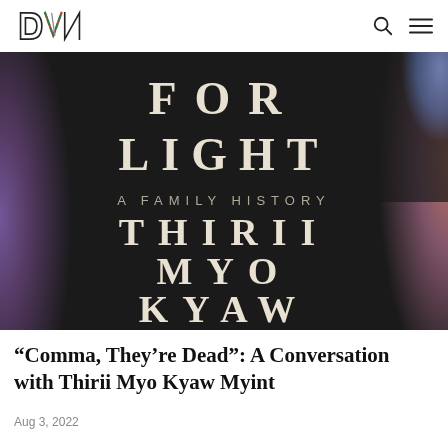DVN (logo)
[Figure (illustration): Book cover for 'For Light: A Family History' by Thirii Myo Kyaw. Dark/black background with blurred colorful bokeh on the left and right edges (blues, purples, pinks). Large spaced white serif uppercase letters read: FOR LIGHT, then smaller spaced text A FAMILY HISTORY, then larger spaced letters THIRII MYO KYAW.]
“Comma, They’re Dead”: A Conversation with Thirii Myo Kyaw Myint
Aug 3, 2022